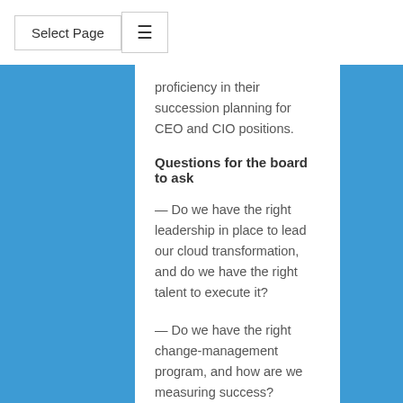Select Page
proficiency in their succession planning for CEO and CIO positions.
Questions for the board to ask
— Do we have the right leadership in place to lead our cloud transformation, and do we have the right talent to execute it?
— Do we have the right change-management program, and how are we measuring success?
— Do we need to make changes to our overall governance model to accommodate the needs of our cloud and technical transformations?
— Does our CEO and CIO succession planning include considerations around both technical and cloud competency?